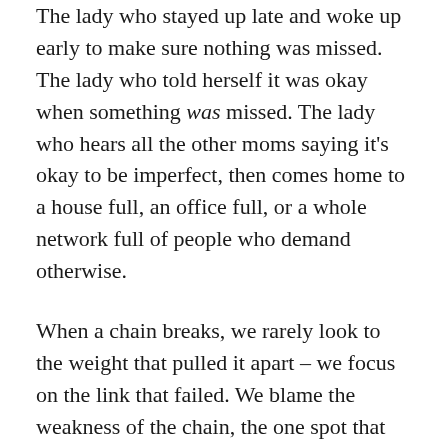The lady who stayed up late and woke up early to make sure nothing was missed. The lady who told herself it was okay when something was missed. The lady who hears all the other moms saying it's okay to be imperfect, then comes home to a house full, an office full, or a whole network full of people who demand otherwise.
When a chain breaks, we rarely look to the weight that pulled it apart – we focus on the link that failed. We blame the weakness of the chain, the one spot that couldn't hold it all, and never question if maybe that chain was just pulling more than it should have been. This is motherhood.